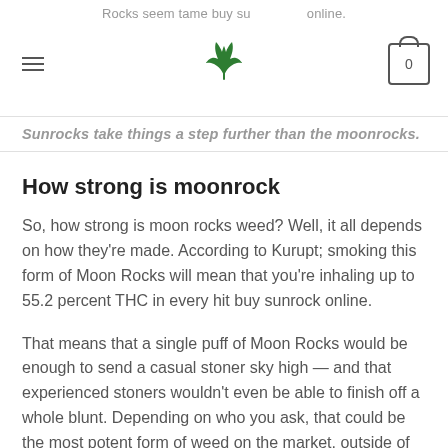Rocks seem tame buy su online.
Sunrocks take things a step further than the moonrocks.
How strong is moonrock
So, how strong is moon rocks weed? Well, it all depends on how they're made. According to Kurupt; smoking this form of Moon Rocks will mean that you're inhaling up to 55.2 percent THC in every hit buy sunrock online.
That means that a single puff of Moon Rocks would be enough to send a casual stoner sky high — and that experienced stoners wouldn't even be able to finish off a whole blunt. Depending on who you ask, that could be the most potent form of weed on the market, outside of pure THC extract buy sunrock weed online.
However, that doesn't mean that all Moon Rocks weed will be